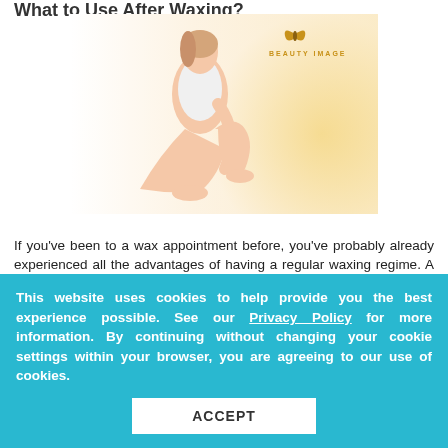What to Use After Waxing?
[Figure (photo): Woman in white tank top sitting on floor with smooth legs extended, Beauty Image logo in top right corner, warm golden background]
If you've been to a wax appointment before, you've probably already experienced all the advantages of having a regular waxing regime. A single wax session can reduce the number of body hairs growin...
This website uses cookies to help provide you the best experience possible. See our Privacy Policy for more information. By continuing without changing your cookie settings within your browser, you are agreeing to our use of cookies.
ACCEPT